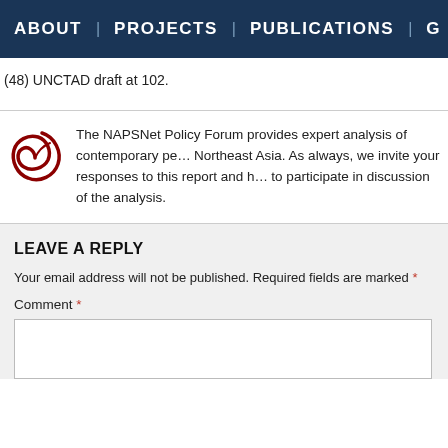ABOUT | PROJECTS | PUBLICATIONS | G
(48) UNCTAD draft at 102.
The NAPSNet Policy Forum provides expert analysis of contemporary pe... Northeast Asia. As always, we invite your responses to this report and h... to participate in discussion of the analysis.
LEAVE A REPLY
Your email address will not be published. Required fields are marked *
Comment *